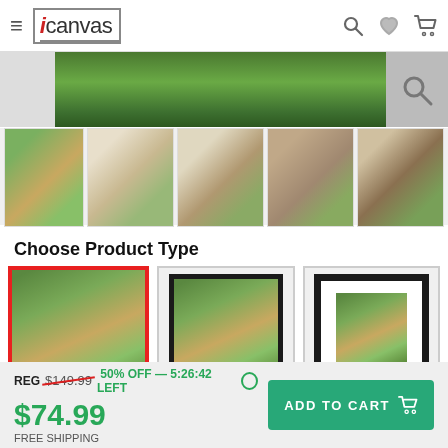icanvas
[Figure (screenshot): iCanvas product page header with hamburger menu, logo, search, wishlist, and cart icons]
[Figure (photo): Product image thumbnail strip showing a cottage painting canvas and 4 room setting photos]
Choose Product Type
[Figure (photo): Three product type options: canvas print (selected with red border), framed canvas, and framed print with mat]
REG $149.99  50% OFF — 5:26:42 LEFT
$74.99
FREE SHIPPING
ADD TO CART